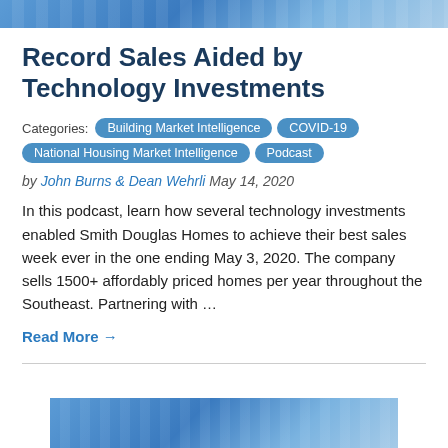[Figure (illustration): Blue gradient decorative header banner with light grid/pattern overlay]
Record Sales Aided by Technology Investments
Categories:  Building Market Intelligence  COVID-19  National Housing Market Intelligence  Podcast
by John Burns & Dean Wehrli  May 14, 2020
In this podcast, learn how several technology investments enabled Smith Douglas Homes to achieve their best sales week ever in the one ending May 3, 2020. The company sells 1500+ affordably priced homes per year throughout the Southeast. Partnering with …
Read More →
[Figure (illustration): Blue gradient decorative banner at bottom of page, partial view with dark bar at bottom]